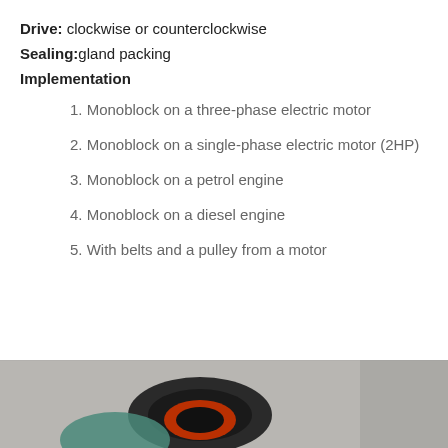Drive: clockwise or counterclockwise
Sealing:gland packing
Implementation
1. Monoblock on a three-phase electric motor
2. Monoblock on a single-phase electric motor (2HP)
3. Monoblock on a petrol engine
4. Monoblock on a diesel engine
5. With belts and a pulley from a motor
6. With lubricated mount and elastic coupler on an electric
This website uses cookies to better provide its services, and to analyze traffic. By using this website, you accept the use of cookies.
Learn more
I understand
[Figure (photo): Partial photo of pump/motor component visible at bottom of page, showing black and red circular parts on grey background]